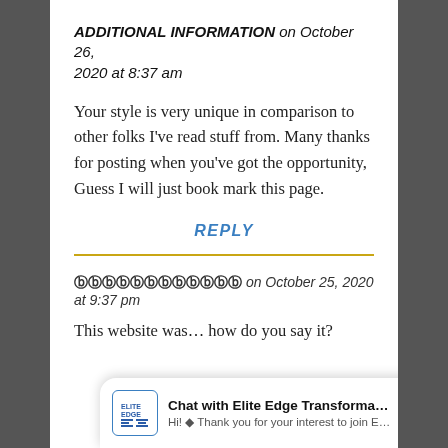ADDITIONAL INFORMATION on October 26, 2020 at 8:37 am
Your style is very unique in comparison to other folks I've read stuff from. Many thanks for posting when you've got the opportunity, Guess I will just book mark this page.
REPLY
𝐑𝐮𝐬𝐬𝐢𝐚𝐧𝐍𝐚𝐦𝐞 on October 25, 2020 at 9:37 pm
This website was... how do you say it?
Chat with Elite Edge Transformatio...
Hi! ◆ Thank you for your interest to join Elite Edg...